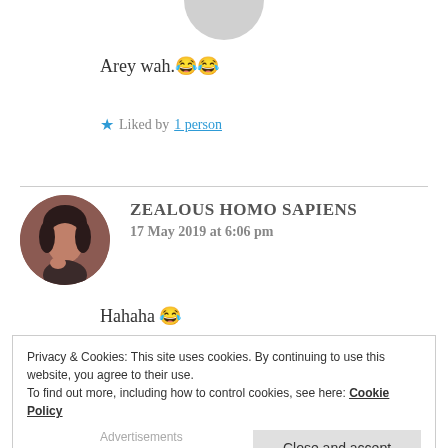[Figure (photo): Partial circular avatar at top, gray/cropped]
Arey wah.😂😂
★ Liked by 1 person
[Figure (photo): Circular profile avatar of a person with dark hair]
ZEALOUS HOMO SAPIENS
17 May 2019 at 6:06 pm
Hahaha 😂
Privacy & Cookies: This site uses cookies. By continuing to use this website, you agree to their use.
To find out more, including how to control cookies, see here: Cookie Policy
Close and accept
Advertisements